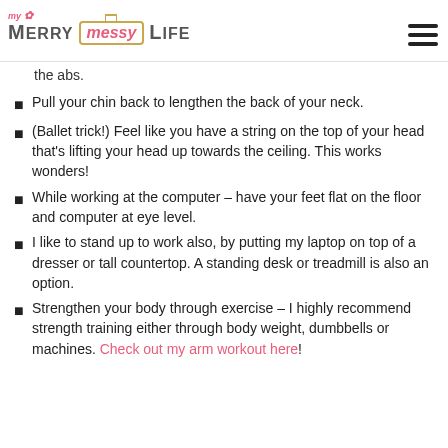my Merry messy Life
the abs.
Pull your chin back to lengthen the back of your neck.
(Ballet trick!) Feel like you have a string on the top of your head that's lifting your head up towards the ceiling. This works wonders!
While working at the computer – have your feet flat on the floor and computer at eye level.
I like to stand up to work also, by putting my laptop on top of a dresser or tall countertop. A standing desk or treadmill is also an option.
Strengthen your body through exercise – I highly recommend strength training either through body weight, dumbbells or machines. Check out my arm workout here!